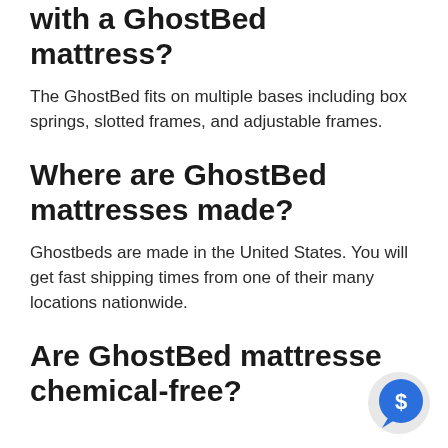with a GhostBed mattress?
The GhostBed fits on multiple bases including box springs, slotted frames, and adjustable frames.
Where are GhostBed mattresses made?
Ghostbeds are made in the United States. You will get fast shipping times from one of their many locations nationwide.
Are GhostBed mattresse chemical-free?
[Figure (illustration): A circular chat bubble icon with a dollar sign ($) in blue, positioned at the bottom right of the page.]